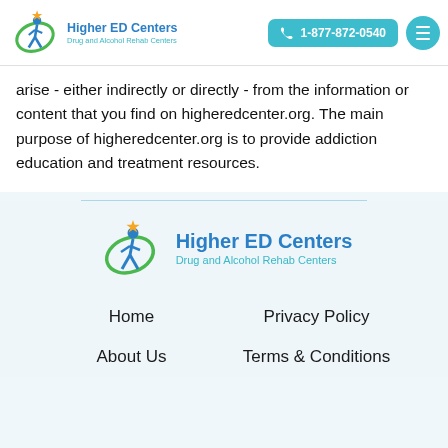Higher ED Centers Drug and Alcohol Rehab Centers | 1-877-872-0540
arise - either indirectly or directly - from the information or content that you find on higheredcenter.org. The main purpose of higheredcenter.org is to provide addiction education and treatment resources.
[Figure (logo): Higher ED Centers logo with blue figure and green oval, orange star, with text 'Higher ED Centers Drug and Alcohol Rehab Centers']
Home
Privacy Policy
About Us
Terms & Conditions